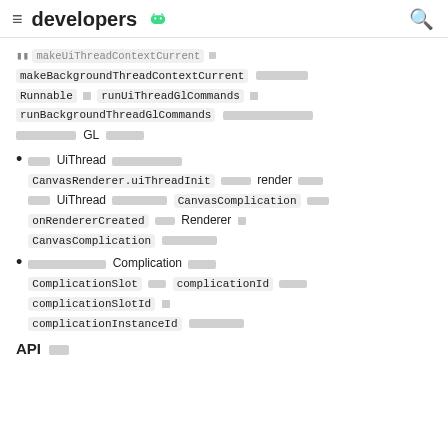developers [Android logo]
makeUiThreadContextCurrent [squares] makeBackgroundThreadContextCurrent [squares] Runnable [square] runUiThreadGlCommands [square] runBackgroundThreadGlCommands [squares] [squares] GL [squares]
[squares] UiThread [squares] CanvasRenderer.uiThreadInit [squares] render [squares] [squares] UiThread [squares] CanvasComplication [squares] onRendererCreated [squares] Renderer [square] CanvasComplication [squares]
[squares] Complication [squares] ComplicationSlot [squares] complicationId [squares] complicationSlotId [square] complicationInstanceId [squares]
API [squares]